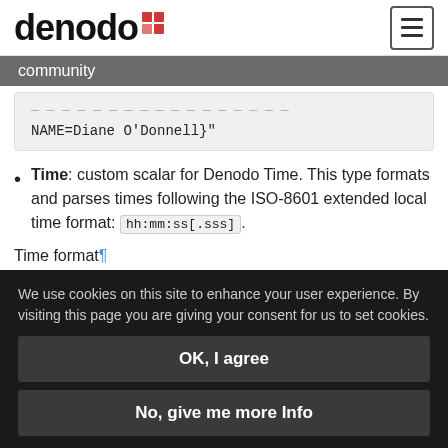denodo community
NAME=Diane O'Donnell}"
Time: custom scalar for Denodo Time. This type formats and parses times following the ISO-8601 extended local time format: hh:mm:ss[.sss].
Time format¶
"time_type": "16:06:11"
We use cookies on this site to enhance your user experience. By visiting this page you are giving your consent for us to set cookies.
OK, I agree
No, give me more Info